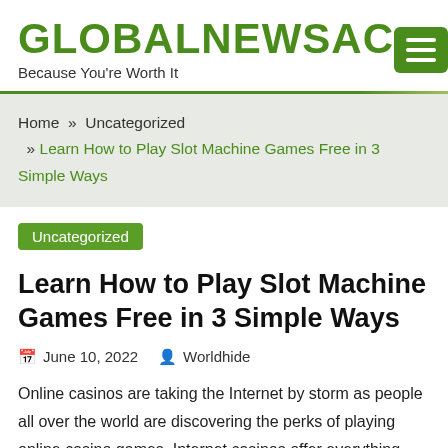GLOBALNEWSAC — Because You're Worth It
Home » Uncategorized » Learn How to Play Slot Machine Games Free in 3 Simple Ways
Uncategorized
Learn How to Play Slot Machine Games Free in 3 Simple Ways
June 10, 2022  Worldhide
Online casinos are taking the Internet by storm as people all over the world are discovering the perks of playing online casino games. Internet casinos offer everything